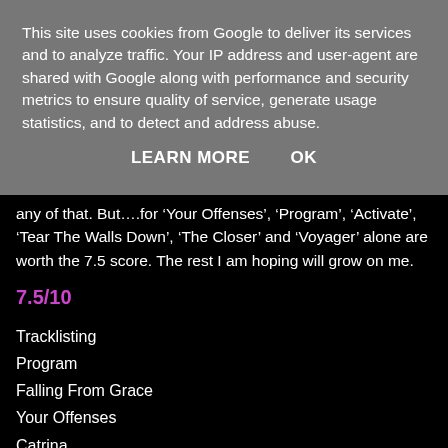This site uses cookies from Google to deliver its services and to analyze traffic. Your IP address and user-agent are shared with Google along with performance and security metrics to ensure quality of service, generate usage statistics, and to detect and address abuse.
LEARN MORE    OK
any of that. But….for ‘Your Offenses’, ‘Program’, ‘Activate’, ‘Tear The Walls Down’, ‘The Closer’ and ‘Voyager’ alone are worth the 7.5 score. The rest I am hoping will grow on me.
7.5/10
Tracklisting
Program
Falling From Grace
Your Offenses
Catrina
Top Of The Bucket
Tear The Walls Down
Fly
Activate
The Closer